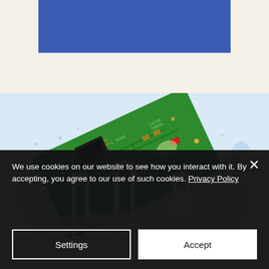[Figure (other): Top section with beige/cream background containing a blue rectangular banner/bar in the center upper portion of the page.]
[Figure (photo): Photo of three white plastic bottles with water splashing around them and a green circuit board (PCB) tilted diagonally in the background, suggesting electronics and liquid/water resistance.]
We use cookies on our website to see how you interact with it. By accepting, you agree to our use of such cookies. Privacy Policy
Settings
Accept